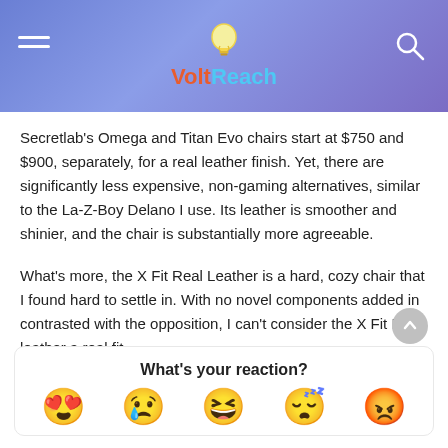VoltReach
Secretlab's Omega and Titan Evo chairs start at $750 and $900, separately, for a real leather finish. Yet, there are significantly less expensive, non-gaming alternatives, similar to the La-Z-Boy Delano I use. Its leather is smoother and shinier, and the chair is substantially more agreeable.
What's more, the X Fit Real Leather is a hard, cozy chair that I found hard to settle in. With no novel components added in contrasted with the opposition, I can't consider the X Fit Real leather a real fit.
What's your reaction?
[Figure (illustration): Five emoji reaction faces: heart-eyes, crying/sad, laughing/ROFL, sleeping/tired, angry/red-faced]